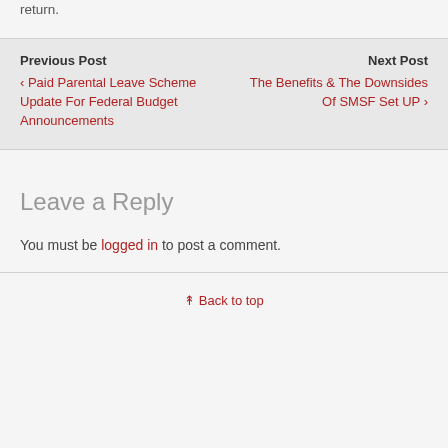return.
Previous Post
‹ Paid Parental Leave Scheme Update For Federal Budget Announcements
Next Post
The Benefits & The Downsides Of SMSF Set UP ›
Leave a Reply
You must be logged in to post a comment.
⇑ Back to top